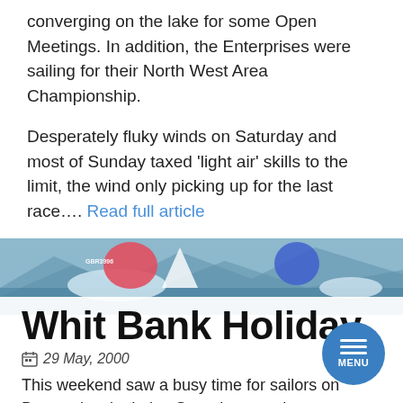converging on the lake for some Open Meetings. In addition, the Enterprises were sailing for their North West Area Championship.
Desperately fluky winds on Saturday and most of Sunday taxed 'light air' skills to the limit, the wind only picking up for the last race.... Read full article
[Figure (photo): Photo of sailing boats on a lake with colorful spinnakers, GBR3996 visible on one sail, mountains in background]
Whit Bank Holiday
29 May, 2000
This weekend saw a busy time for sailors on Bassenthwaite Lake. Saturday saw the continuation of the May Joule Memorial Trophy, a long series of